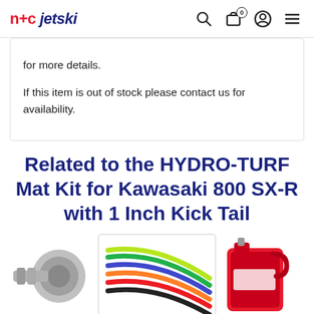n+c jetski
for more details.

If this item is out of stock please contact us for availability.
Related to the HYDRO-TURF Mat Kit for Kawasaki 800 SX-R with 1 Inch Kick Tail
[Figure (photo): Three product thumbnail images showing related items: a metal fitting/connector on the left, a bundle of colorful hoses/tubes in the center, and a red gas can partially visible on the right.]